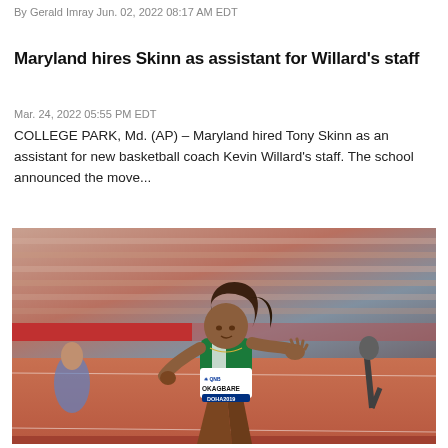By Gerald Imray Jun. 02, 2022 08:17 AM EDT
Maryland hires Skinn as assistant for Willard's staff
Mar. 24, 2022 05:55 PM EDT
COLLEGE PARK, Md. (AP) – Maryland hired Tony Skinn as an assistant for new basketball coach Kevin Willard's staff. The school announced the move...
[Figure (photo): Female sprinter wearing green Nigeria vest with 'OKAGBARE' bib number and 'DOHA 2019' branding, running on track at a stadium, QNB sponsor logo visible on bib]